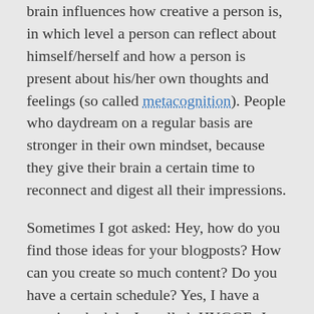brain influences how creative a person is, in which level a person can reflect about himself/herself and how a person is present about his/her own thoughts and feelings (so called metacognition). People who daydream on a regular basis are stronger in their own mindset, because they give their brain a certain time to reconnect and digest all their impressions.
Sometimes I got asked: Hey, how do you find those ideas for your blogposts? How can you create so much content? Do you have a certain schedule? Yes, I have a certain schedule. Its called: HYGGE. Just a few minutes of being in a cosy mood, which converts your day into a stage of a soap bubble: If you relax your thoughts will fly around, you will release stress and you will be confronted with future ideas, innovations and creative input.